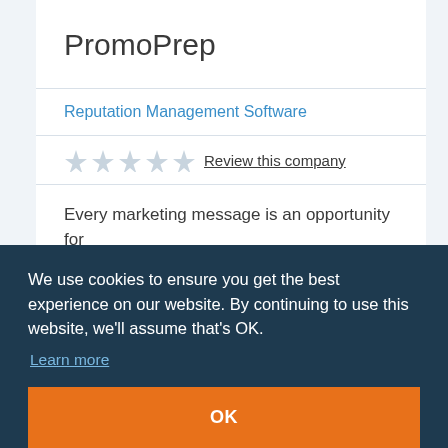PromoPrep
Reputation Management Software
Review this company
Every marketing message is an opportunity for promotion – be it an offer, price discount, product
We use cookies to ensure you get the best experience on our website. By continuing to use this website, we'll assume that's OK.
Learn more
OK
Serchen Index